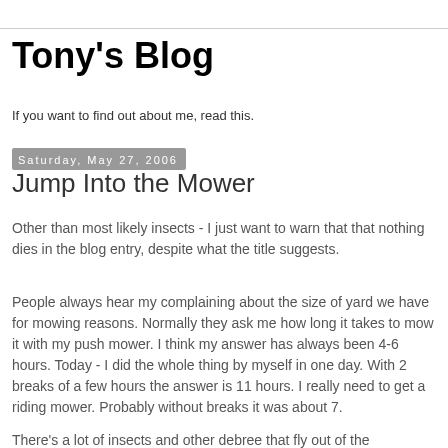Tony's Blog
If you want to find out about me, read this.
Saturday, May 27, 2006
Jump Into the Mower
Other than most likely insects - I just want to warn that that nothing dies in the blog entry, despite what the title suggests.
People always hear my complaining about the size of yard we have for mowing reasons. Normally they ask me how long it takes to mow it with my push mower. I think my answer has always been 4-6 hours. Today - I did the whole thing by myself in one day. With 2 breaks of a few hours the answer is 11 hours. I really need to get a riding mower. Probably without breaks it was about 7.
There's a lot of insects and other debree that fly out of the